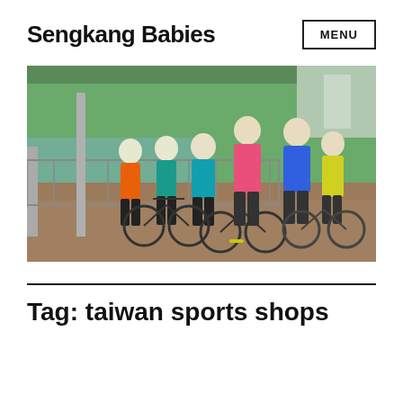Sengkang Babies
[Figure (photo): A family of six people posing with bicycles on a wooden boardwalk bridge with a railing, trees and water in the background. They are wearing colorful sportswear — orange, teal, pink, blue, and yellow shirts.]
Tag: taiwan sports shops